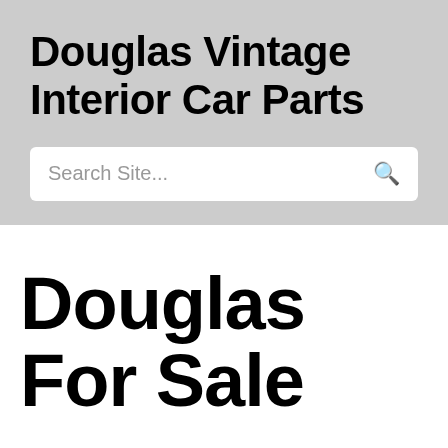Douglas Vintage Interior Car Parts
Search Site...
Douglas For Sale